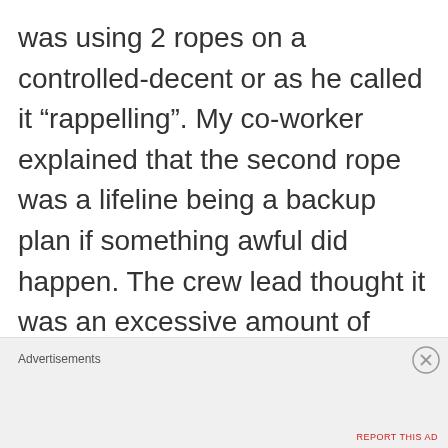was using 2 ropes on a controlled-decent or as he called it “rappelling”. My co-worker explained that the second rope was a lifeline being a backup plan if something awful did happen. The crew lead thought it was an excessive amount of work and
Advertisements